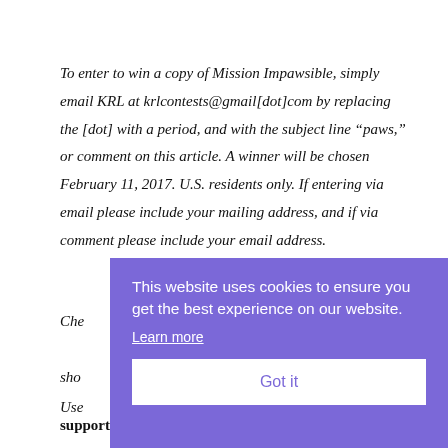To enter to win a copy of Mission Impawsible, simply email KRL at krlcontests@gmail[dot]com by replacing the [dot] with a period, and with the subject line “paws,” or comment on this article. A winner will be chosen February 11, 2017. U.S. residents only. If entering via email please include your mailing address, and if via comment please include your email address.
Che... sho...
Use... support KRL & indie bookstore Mysterious Galaxy:
[Figure (other): Cookie consent overlay banner with purple background. Text reads: 'This website uses cookies to ensure you get the best experience on our website.' with a 'Learn more' link and a white 'Got it' button.]